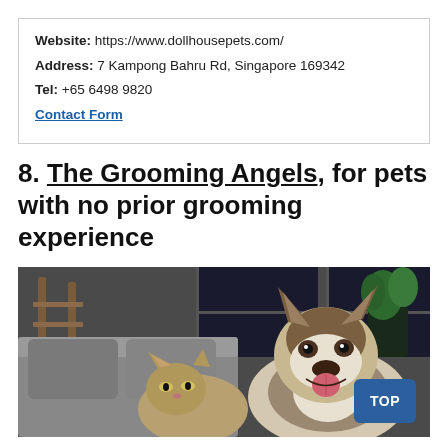Website: https://www.dollhousepets.com/
Address: 7 Kampong Bahru Rd, Singapore 169342
Tel: +65 6498 9820
Contact Form
8. The Grooming Angels, for pets with no prior grooming experience
[Figure (photo): A husky dog and a tabby cat sitting together on a grey sofa in a home setting, with plants and wooden furniture in the background. A blue 'TOP' button is overlaid on the bottom right.]